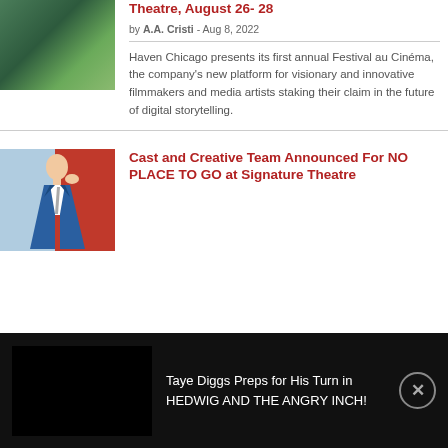[Figure (photo): Thumbnail image with green/nature tones at top left]
Theatre, August 26- 28
by A.A. Cristi - Aug 8, 2022
Haven Chicago presents its first annual Festival au Cinéma, the company's new platform for visionary and innovative filmmakers and media artists staking their claim in the future of digital storytelling.
[Figure (photo): Man in blue suit with red background]
Cast and Creative Team Announced For NO PLACE TO GO at Signature Theatre
[Figure (screenshot): Black banner overlay: Taye Diggs Preps for His Turn in HEDWIG AND THE ANGRY INCH!]